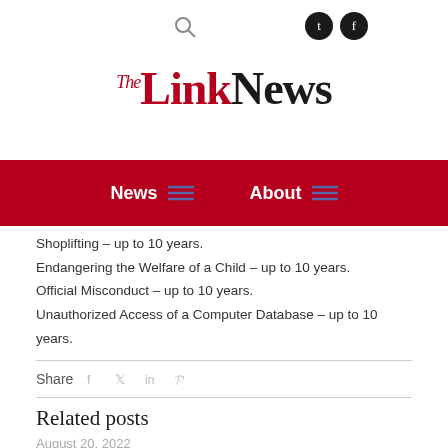The Link News — header with search and social icons
The Link News
News   About
Shoplifting – up to 10 years.
Endangering the Welfare of a Child – up to 10 years.
Official Misconduct – up to 10 years.
Unauthorized Access of a Computer Database – up to 10 years.
Share
Related posts
August 20, 2022